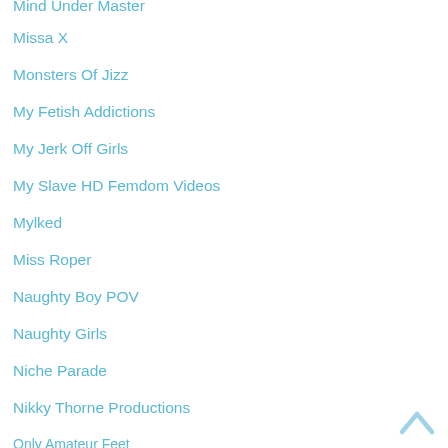Mind Under Master
Missa X
Monsters Of Jizz
My Fetish Addictions
My Jerk Off Girls
My Slave HD Femdom Videos
Mylked
Miss Roper
Naughty Boy POV
Naughty Girls
Niche Parade
Nikky Thorne Productions
Only Amateur Feet
Orgasm Abuse
OublietteClip Store